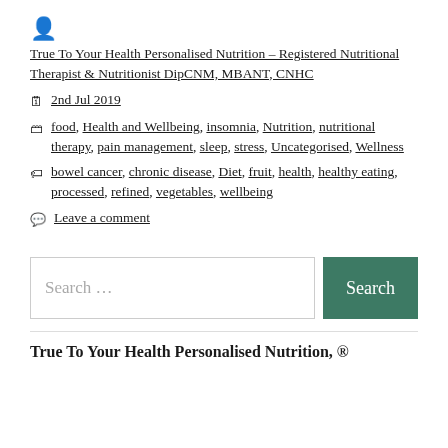👤
True To Your Health Personalised Nutrition - Registered Nutritional Therapist & Nutritionist DipCNM, MBANT, CNHC
📅 2nd Jul 2019
🗁 food, Health and Wellbeing, insomnia, Nutrition, nutritional therapy, pain management, sleep, stress, Uncategorised, Wellness
🏷 bowel cancer, chronic disease, Diet, fruit, health, healthy eating, processed, refined, vegetables, wellbeing
💬 Leave a comment
[Figure (other): Search box with Search button]
True To Your Health Personalised Nutrition, Ⓦ